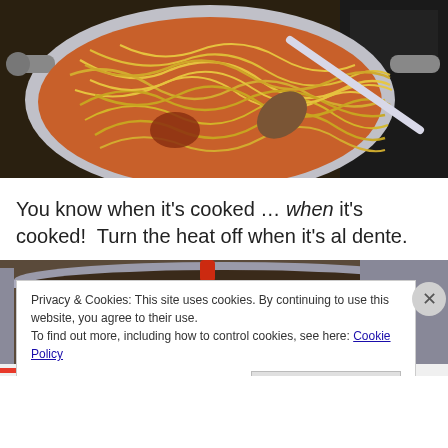[Figure (photo): A large pan of spaghetti in tomato sauce being stirred on a stovetop, viewed from above. A white ladle/spoon is visible in the pan.]
You know when it's cooked … when it's cooked!  Turn the heat off when it's al dente.
[Figure (photo): Partial view of a cooking pot on stovetop, bottom portion cut off by cookie consent banner.]
Privacy & Cookies: This site uses cookies. By continuing to use this website, you agree to their use.
To find out more, including how to control cookies, see here: Cookie Policy
Close and accept